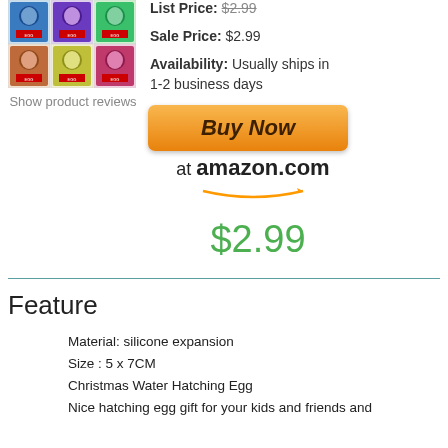[Figure (photo): Product image grid showing Christmas hatching egg packages, 2x3 grid of colorful package photos]
Show product reviews
List Price: $2.99
Sale Price: $2.99
Availability: Usually ships in 1-2 business days
[Figure (other): Buy Now button linking to amazon.com with orange gradient button and amazon smile logo]
$2.99
Feature
Material: silicone expansion
Size : 5 x 7CM
Christmas Water Hatching Egg
Nice hatching egg gift for your kids and friends and